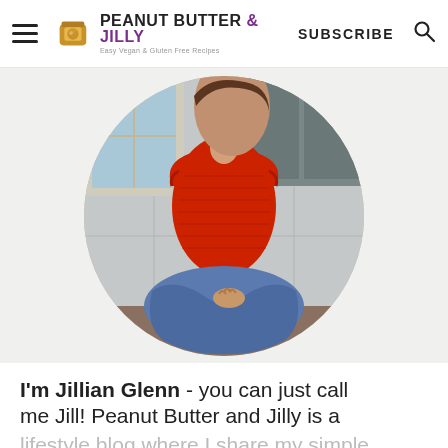PEANUT BUTTER & JILLY — Easy Vegan & Gluten Free Recipes | SUBSCRIBE
[Figure (photo): Circular cropped photo of a woman in a red off-shoulder top and blue jeans, sitting on a kitchen counter with white tile backsplash and gray cabinetry in background.]
I'm Jillian Glenn - you can just call me Jill! Peanut Butter and Jilly is a lifestyle blog where I share my simple